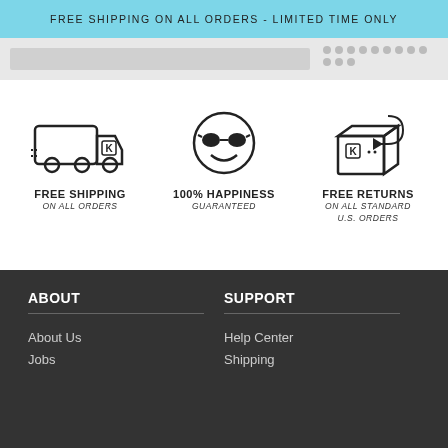FREE SHIPPING ON ALL ORDERS - LIMITED TIME ONLY
[Figure (screenshot): Navigation bar with search field and dot grid pattern]
[Figure (illustration): Delivery truck icon with K logo - FREE SHIPPING ON ALL ORDERS]
[Figure (illustration): Smiley face with sunglasses icon - 100% HAPPINESS GUARANTEED]
[Figure (illustration): Box with return arrow icon - FREE RETURNS ON ALL STANDARD U.S. ORDERS]
ABOUT
SUPPORT
About Us
Jobs
Help Center
Shipping